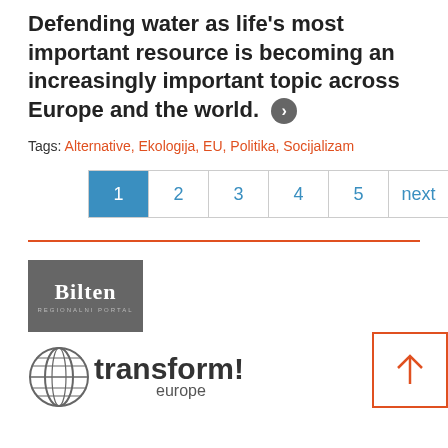Defending water as life's most important resource is becoming an increasingly important topic across Europe and the world.
Tags: Alternative, Ekologija, EU, Politika, Socijalizam
[Figure (other): Pagination bar with pages 1 (active/blue), 2, 3, 4, 5, next, last]
[Figure (logo): Bilten - Regionalni Portal logo on grey background]
[Figure (logo): Transform! Europe logo with globe icon]
[Figure (other): Back to top button - orange arrow in square outline]